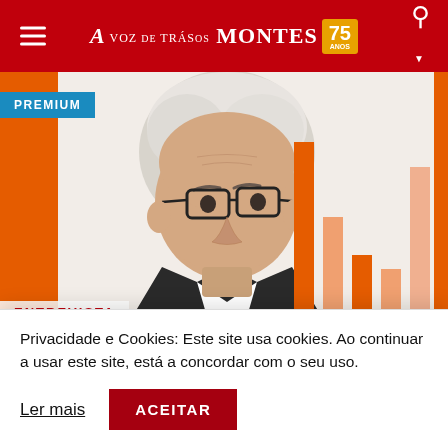A VOZ DE TRÁS-OS-MONTES 75
[Figure (photo): Man with white hair and glasses, shown in close-up, with orange background bars and decorative bar chart on the right side. PREMIUM badge top-left. ENTREVISTA label bottom-left.]
Entrevista ao cabeça de lista do PSD
Privacidade e Cookies: Este site usa cookies. Ao continuar a usar este site, está a concordar com o seu uso.
Ler mais   ACEITAR